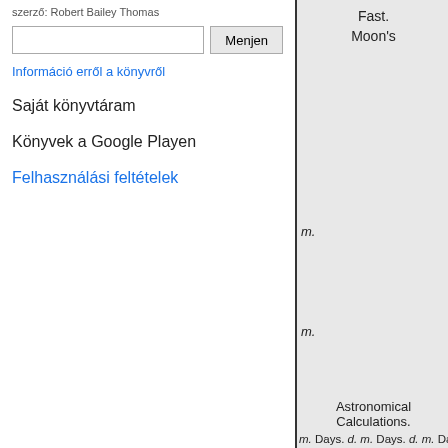szerző: Robert Bailey Thomas
Menjen
Információ erről a könyvről
Saját könyvtáram
Könyvek a Google Playen
Felhasználási feltételek
Fast.
Moon's
m.
m.
Astronomical Calculations.
m. Days. d. m. Days. d. m. Days.
10 34 26 12 40 4 11 9 6 30 15 8
9 29 23 11 37 29 13 40
5 21 12 7 38 18 9 51 24 11 58
First Quarter, 13th day, 10
O Full Moon, 22d day, 2h